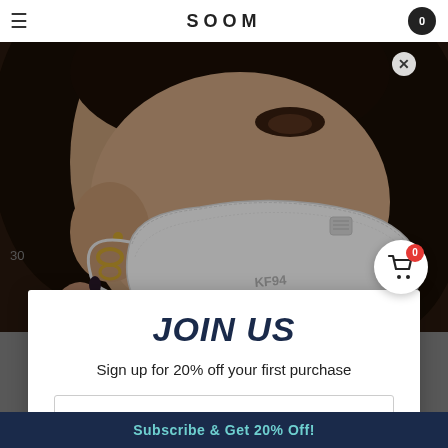SOOM
[Figure (photo): Close-up photo of a woman wearing a white KF94 face mask, with curly dark hair, gold hoop earrings, and a ring. She is touching her face with one hand.]
JOIN US
Sign up for 20% off your first purchase
Email
Subscribe & Get 20% Off!